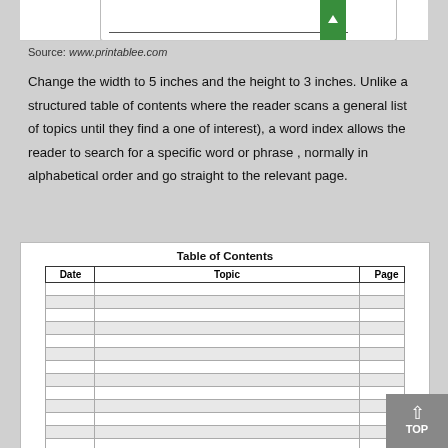[Figure (screenshot): Partial screenshot showing a table of contents template with a number 15 visible and a green button, with a border/underline element.]
Source: www.printablee.com
Change the width to 5 inches and the height to 3 inches. Unlike a structured table of contents where the reader scans a general list of topics until they find a one of interest), a word index allows the reader to search for a specific word or phrase , normally in alphabetical order and go straight to the relevant page.
| Date | Topic | Page |
| --- | --- | --- |
|  |  |  |
|  |  |  |
|  |  |  |
|  |  |  |
|  |  |  |
|  |  |  |
|  |  |  |
|  |  |  |
|  |  |  |
|  |  |  |
|  |  |  |
|  |  |  |
|  |  |  |
|  |  |  |
|  |  |  |
|  |  |  |
|  |  |  |